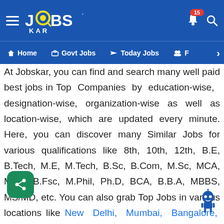JOBSKAR — Home | Govt Jobs | Today Jobs | F… [nav bar] — Notification badge: 15
At Jobskar, you can find and search many well paid best jobs in Top Companies by education-wise, designation-wise, organization-wise as well as location-wise, which are updated every minute. Here, you can discover many Similar Jobs for various qualifications like 8th, 10th, 12th, B.E, B.Tech, M.E, M.Tech, B.Sc, B.Com, M.Sc, MCA, MBA, B.Fsc, M.Phil, Ph.D, BCA, B.B.A, MBBS, MS/MD, etc. You can also grab Top Jobs in various locations like New Delhi, Mumbai, Bangalore, Chennai, Kolkata, Hyderabad, Pune, Noida, Gurgaon, Chandigarh, Ahmedabad, Agra, Jaipur, Kochi, Lucknow, Bhubaneshwar and more location across I… Discover Latest Sarkari Naukri vacancy details firs… Jobskar. Explore Today Jobs, Weekly Jobs as well as Monthly